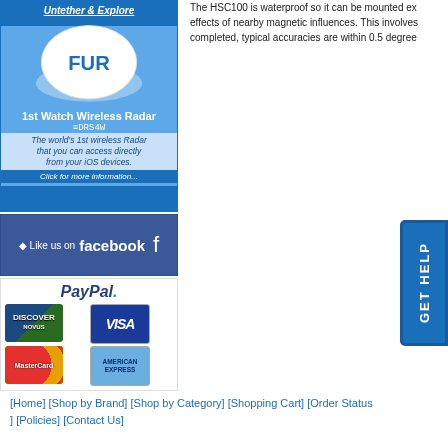[Figure (advertisement): Furuno 1st Watch Wireless Radar DRS4W advertisement with dome radar image, blue background, text: 'Untether & Explore', '1st Watch Wireless Radar =DRS4W', 'The world's 1st wireless Radar that you can access directly from your iOS devices.', 'Click for more information...']
[Figure (advertisement): Like us on Facebook banner with Facebook logo, blue background]
[Figure (other): PayPal payment section with PayPal logo and credit card logos: Discover, Visa, MasterCard, American Express]
The HSC100 is waterproof so it can be mounted ex effects of nearby magnetic influences. This involves completed, typical accuracies are within 0.5 degree
[Figure (other): GET HELP vertical button on right side, blue background]
[Home] [Shop by Brand] [Shop by Category] [Shopping Cart] [Order Status ] [Policies] [Contact Us]